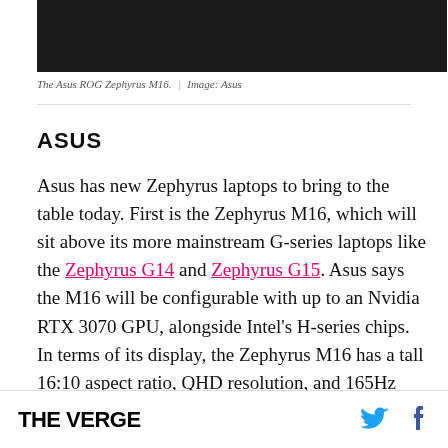[Figure (photo): Dark laptop (Asus ROG Zephyrus M16) on black background, top portion visible]
The Asus ROG Zephyrus M16.  |  Image: Asus
ASUS
Asus has new Zephyrus laptops to bring to the table today. First is the Zephyrus M16, which will sit above its more mainstream G-series laptops like the Zephyrus G14 and Zephyrus G15. Asus says the M16 will be configurable with up to an Nvidia RTX 3070 GPU, alongside Intel's H-series chips. In terms of its display, the Zephyrus M16 has a tall 16:10 aspect ratio, QHD resolution, and 165Hz
THE VERGE